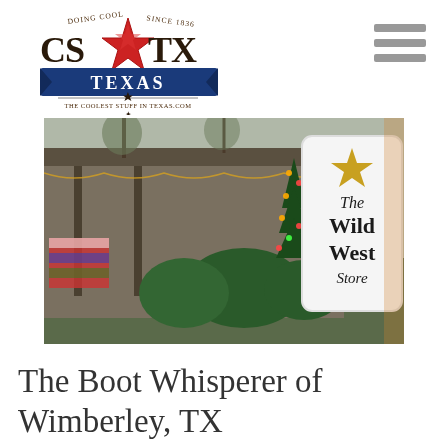[Figure (logo): CS TX Texas - The Coolest Stuff in Texas logo with red star, blue banner, and text 'DOING COOL SINCE 1836']
[Figure (photo): Exterior photo of The Wild West Store in Wimberley TX, showing storefront decorated with Christmas lights and a large white sign reading 'The Wild West Store']
The Boot Whisperer of Wimberley, TX